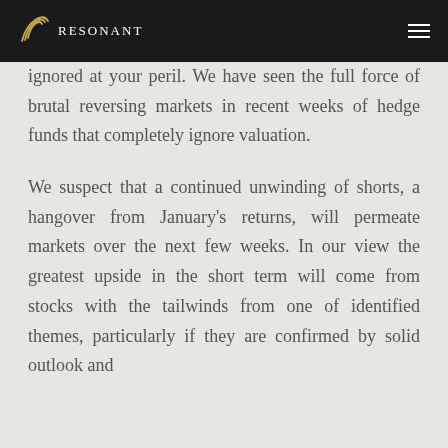Resonant
ignored at your peril. We have seen the full force of brutal reversing markets in recent weeks of hedge funds that completely ignore valuation.

We suspect that a continued unwinding of shorts, a hangover from January's returns, will permeate markets over the next few weeks. In our view the greatest upside in the short term will come from stocks with the tailwinds from one of identified themes, particularly if they are confirmed by solid outlook and